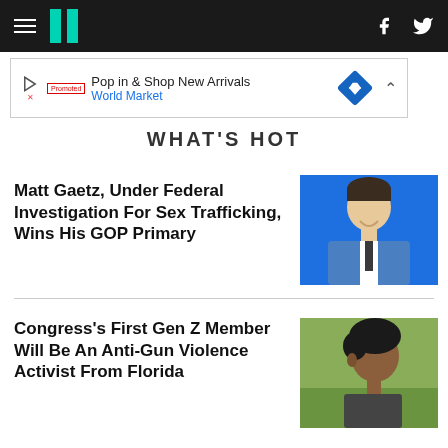HuffPost navigation bar with hamburger menu, logo, Facebook and Twitter icons
[Figure (other): Advertisement banner: Pop in & Shop New Arrivals - World Market, with blue diamond navigation icon]
WHAT'S HOT
Matt Gaetz, Under Federal Investigation For Sex Trafficking, Wins His GOP Primary
[Figure (photo): Photo of Matt Gaetz smiling against a blue background, wearing a blue suit with dark tie]
Congress's First Gen Z Member Will Be An Anti-Gun Violence Activist From Florida